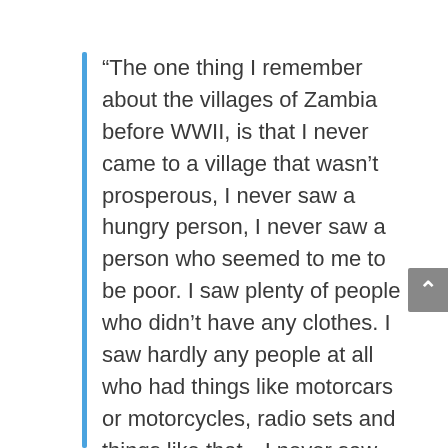“The one thing I remember about the villages of Zambia before WWII, is that I never came to a village that wasn’t prosperous, I never saw a hungry person, I never saw a person who seemed to me to be poor. I saw plenty of people who didn’t have any clothes. I saw hardly any people at all who had things like motorcars or motorcycles, radio sets and things like that…I never saw anybody hungry, I never heard of anybody being hungry, I never heard of anything like famines. I never heard of unemployment. The reason there was no unemployment was because there